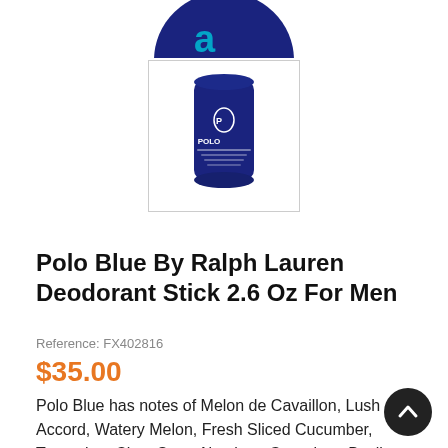[Figure (photo): Partial top view of a dark blue round container with a light blue logo, cropped at top of page]
[Figure (photo): Polo Blue by Ralph Lauren deodorant stick in dark navy blue cylindrical container with white polo player logo and small text label, shown in a bordered thumbnail]
Polo Blue By Ralph Lauren Deodorant Stick 2.6 Oz For Men
Reference: FX402816
$35.00
Polo Blue has notes of Melon de Cavaillon, Lush Accord, Watery Melon, Fresh Sliced Cucumber, Tangerine, Clary Sage Absolute, Geranium, Basil Verbena, Washed Suede, Velvety